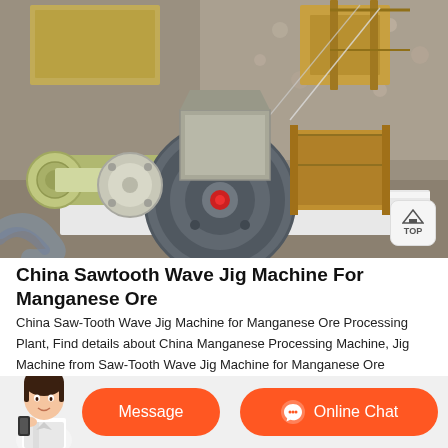[Figure (photo): Industrial sawtooth wave jig machine for manganese ore processing, showing heavy machinery with a large flywheel, motor, feed hopper, and wooden ore collection bins on a concrete surface.]
China Sawtooth Wave Jig Machine For Manganese Ore
China Saw-Tooth Wave Jig Machine for Manganese Ore Processing Plant, Find details about China Manganese Processing Machine, Jig Machine from Saw-Tooth Wave Jig Machine for Manganese Ore Processing Plant - Ganzhou Colin Mining Machinery Co., Ltd.